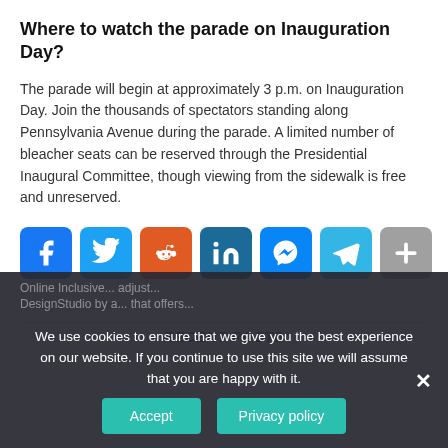Where to watch the parade on Inauguration Day?
The parade will begin at approximately 3 p.m. on Inauguration Day. Join the thousands of spectators standing along Pennsylvania Avenue during the parade. A limited number of bleacher seats can be reserved through the Presidential Inaugural Committee, though viewing from the sidewalk is free and unreserved.
[Figure (infographic): Social media share buttons: Facebook, Twitter, Reddit, LinkedIn, Messenger, Telegram, Share(+)]
Category / Other
RECENT POSTS
We use cookies to ensure that we give you the best experience on our website. If you continue to use this site we will assume that you are happy with it.
Accept   Privacy policy